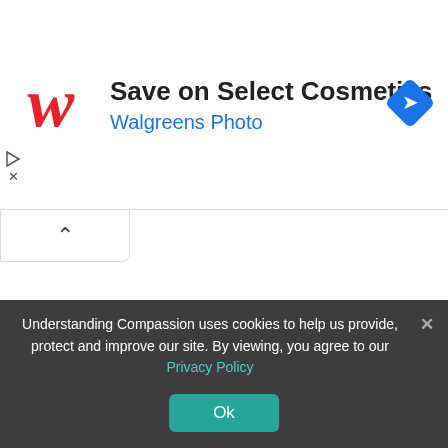[Figure (screenshot): Walgreens ad banner with red cursive W logo, text 'Save on Select Cosmetics' and 'Walgreens Photo' in blue, and a blue diamond navigation arrow icon on the right]
[Figure (screenshot): Collapse/minimize tab button with upward caret arrow]
Understanding Compassion uses cookies to help us provide, protect and improve our site. By viewing, you agree to our Privacy Policy
Ok